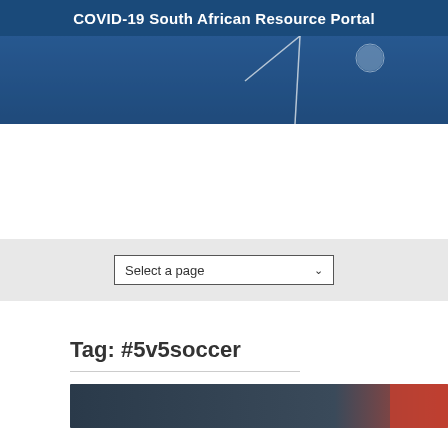COVID-19 South African Resource Portal
[Figure (photo): Blue-toned night photo showing a soccer goal post with a ball near top, white lines visible, dark blue field background]
[Figure (screenshot): Select a page dropdown navigation element on grey background]
Tag: #5v5soccer
[Figure (photo): Partial view of an article thumbnail image with dark and reddish tones at bottom of page]